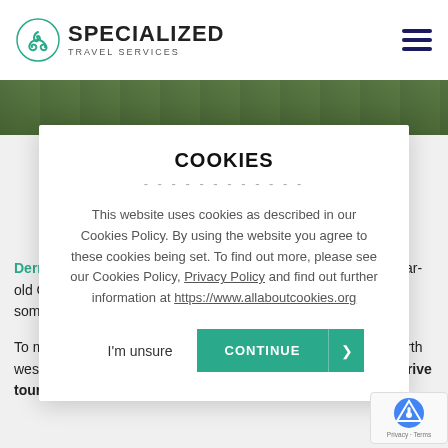SPECIALIZED TRAVEL SERVICES
[Figure (screenshot): Green foliage photo strip background]
COOKIES
This website uses cookies as described in our Cookies Policy. By using the website you agree to these cookies being set. To find out more, please see our Cookies Policy, Privacy Policy and find out further information at https://www.allaboutcookies.org
I'm unsure | CONTINUE
Derry from home. Here you'll be able to see the historic 400-year-old City Walls, the Guildhall and even experience 360 views of some of Derry's most iconic visitor attractions.
To make a break for Derry City and to explore Ireland scenic north west further why not book a private, customized, chauffeur drive tour of Ireland with